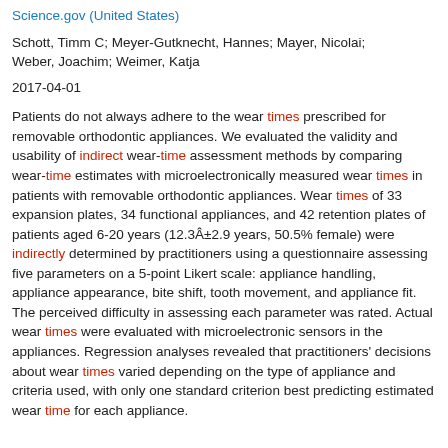Science.gov (United States)
Schott, Timm C; Meyer-Gutknecht, Hannes; Mayer, Nicolai; Weber, Joachim; Weimer, Katja
2017-04-01
Patients do not always adhere to the wear times prescribed for removable orthodontic appliances. We evaluated the validity and usability of indirect wear-time assessment methods by comparing wear-time estimates with microelectronically measured wear times in patients with removable orthodontic appliances. Wear times of 33 expansion plates, 34 functional appliances, and 42 retention plates of patients aged 6-20 years (12.3Â±2.9 years, 50.5% female) were indirectly determined by practitioners using a questionnaire assessing five parameters on a 5-point Likert scale: appliance handling, appliance appearance, bite shift, tooth movement, and appliance fit. The perceived difficulty in assessing each parameter was rated. Actual wear times were evaluated with microelectronic sensors in the appliances. Regression analyses revealed that practitioners' decisions about wear times varied depending on the type of appliance and criteria used, with only one standard criterion best predicting estimated wear time for each appliance.